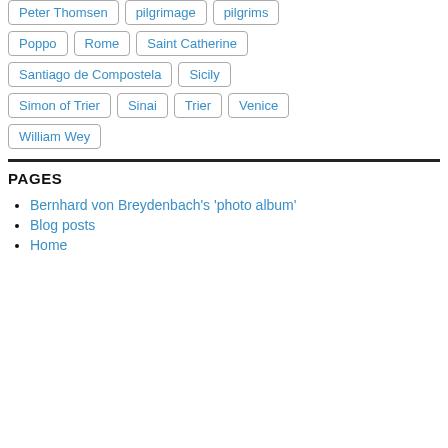Peter Thomsen
pilgrimage
pilgrims
Poppo
Rome
Saint Catherine
Santiago de Compostela
Sicily
Simon of Trier
Sinai
Trier
Venice
William Wey
PAGES
Bernhard von Breydenbach's 'photo album'
Blog posts
Home